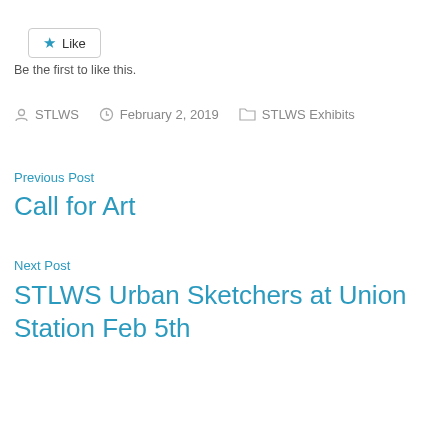[Figure (screenshot): Like button with star icon]
Be the first to like this.
STLWS   February 2, 2019   STLWS Exhibits
Previous Post
Call for Art
Next Post
STLWS Urban Sketchers at Union Station Feb 5th